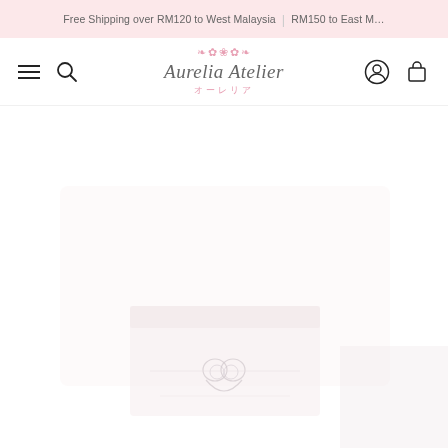Free Shipping over RM120 to West Malaysia | RM150 to East Malaysia
[Figure (logo): Aurelia Atelier logo with floral decoration and Japanese text オーレリア]
[Figure (photo): Faint/light product image showing what appears to be a gift or jewellery box with a heart-shaped logo or ribbon detail at the bottom center]